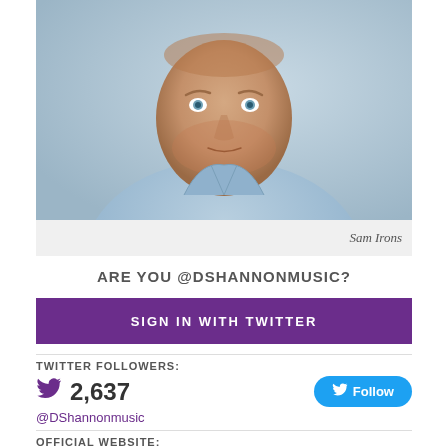[Figure (photo): Headshot of a middle-aged man with light reddish-brown stubble and blue-grey eyes, wearing an open-collar light blue shirt, photographed against a soft grey-blue background.]
Sam Irons
ARE YOU @DSHANNONMUSIC?
SIGN IN WITH TWITTER
TWITTER FOLLOWERS:
2,637
@DShannonmusic
OFFICIAL WEBSITE:
www.davidshannonmusic.com